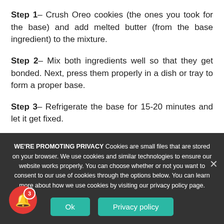Step 1– Crush Oreo cookies (the ones you took for the base) and add melted butter (from the base ingredient) to the mixture.
Step 2– Mix both ingredients well so that they get bonded. Next, press them properly in a dish or tray to form a proper base.
Step 3– Refrigerate the base for 15-20 minutes and let it get fixed.
WE'RE PROMOTING PRIVACY Cookies are small files that are stored on your browser. We use cookies and similar technologies to ensure our website works properly. You can choose whether or not you want to consent to our use of cookies through the options below. You can learn more about how we use cookies by visiting our privacy policy page.